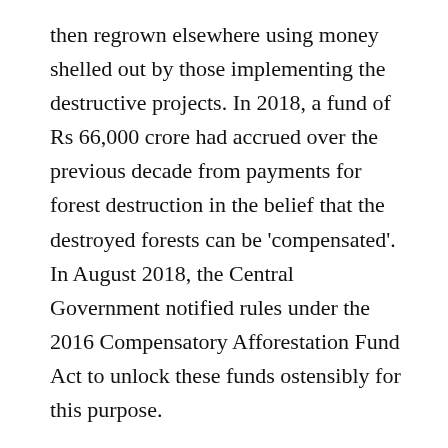then regrown elsewhere using money shelled out by those implementing the destructive projects. In 2018, a fund of Rs 66,000 crore had accrued over the previous decade from payments for forest destruction in the belief that the destroyed forests can be 'compensated'. In August 2018, the Central Government notified rules under the 2016 Compensatory Afforestation Fund Act to unlock these funds ostensibly for this purpose.
The compensatory afforestation law is now channeling a huge pot of money for afforestation through state bureaucracies and private parties and businesses. But it is a fatally flawed programme suffering from at least four major problems: planting trees in the wrong places